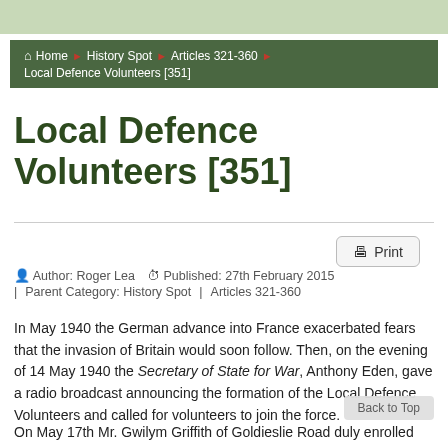Home › History Spot › Articles 321-360 › Local Defence Volunteers [351]
Local Defence Volunteers [351]
Author: Roger Lea   Published: 27th February 2015 | Parent Category: History Spot | Articles 321-360
In May 1940 the German advance into France exacerbated fears that the invasion of Britain would soon follow. Then, on the evening of 14 May 1940 the Secretary of State for War, Anthony Eden, gave a radio broadcast announcing the formation of the Local Defence Volunteers and called for volunteers to join the force.
On May 17th Mr. Gwilym Griffith of Goldieslie Road duly enrolled